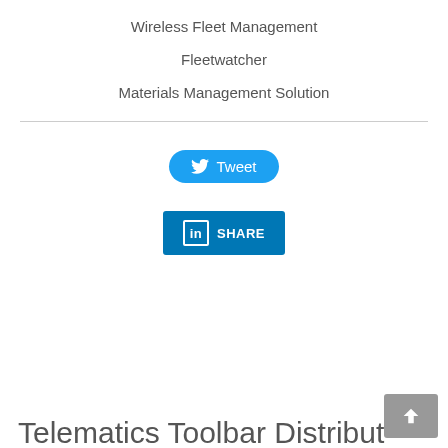Wireless Fleet Management
Fleetwatcher
Materials Management Solution
[Figure (screenshot): Twitter Tweet button — blue pill-shaped button with Twitter bird icon and text 'Tweet']
[Figure (screenshot): LinkedIn Share button — blue rectangular button with LinkedIn 'in' logo icon and text 'SHARE']
[Figure (screenshot): Back to top button — grey rounded rectangle in bottom right corner with upward chevron arrow]
Telematics Toolbar Distribut